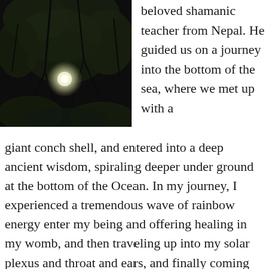[Figure (photo): A dark nighttime photograph showing tree branches and foliage silhouetted against a dark sky, with a bright glowing light (possibly the moon) visible through the branches.]
beloved shamanic teacher from Nepal. He guided us on a journey into the bottom of the sea, where we met up with a giant conch shell, and entered into a deep ancient wisdom, spiraling deeper under ground at the bottom of the Ocean. In my journey, I experienced a tremendous wave of rainbow energy enter my being and offering healing in my womb, and then traveling up into my solar plexus and throat and ears, and finally coming out through my third eye as a cobra. My body began to shake from the energy rising through me. I then saw 4 Naga spirits dancing as they rose into the ethers,